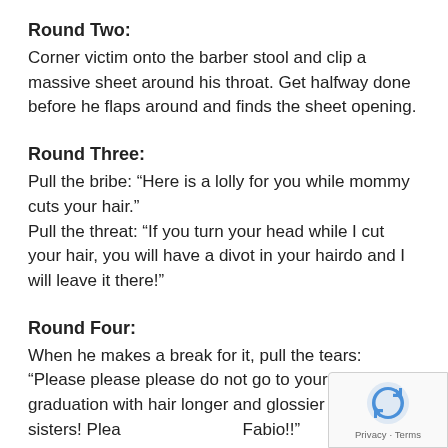Round Two:
Corner victim onto the barber stool and clip a massive sheet around his throat. Get halfway done before he flaps around and finds the sheet opening.
Round Three:
Pull the bribe: “Here is a lolly for you while mommy cuts your hair.”
Pull the threat: “If you turn your head while I cut your hair, you will have a divot in your hairdo and I will leave it there!”
Round Four:
When he makes a break for it, pull the tears: “Please please please do not go to your high school graduation with hair longer and glossier than your sisters! Plea… Fabio!!”